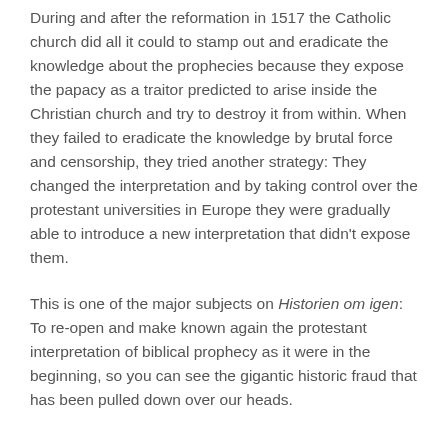During and after the reformation in 1517 the Catholic church did all it could to stamp out and eradicate the knowledge about the prophecies because they expose the papacy as a traitor predicted to arise inside the Christian church and try to destroy it from within. When they failed to eradicate the knowledge by brutal force and censorship, they tried another strategy: They changed the interpretation and by taking control over the protestant universities in Europe they were gradually able to introduce a new interpretation that didn't expose them.
This is one of the major subjects on Historien om igen: To re-open and make known again the protestant interpretation of biblical prophecy as it were in the beginning, so you can see the gigantic historic fraud that has been pulled down over our heads.